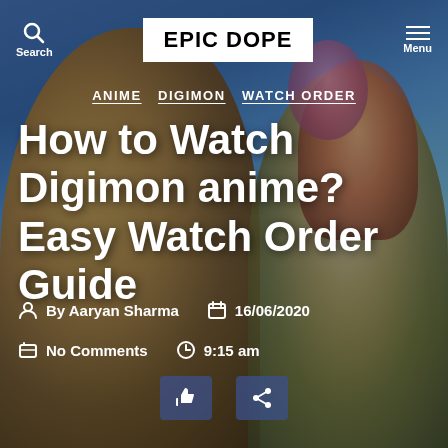[Figure (illustration): Digimon anime characters and their digimon partners as background image with blue/teal/green gradient tones]
EPIC DOPE
ANIME  DIGIMON  WATCH ORDER
How to Watch Digimon anime? Easy Watch Order Guide
By Aaryan Sharma   16/06/2020
No Comments   9:15 am